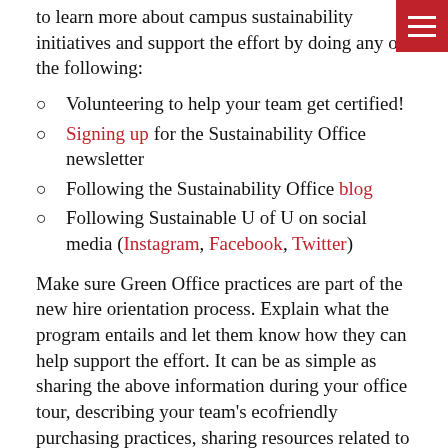to learn more about campus sustainability initiatives and support the effort by doing any of the following:
Volunteering to help your team get certified!
Signing up for the Sustainability Office newsletter
Following the Sustainability Office blog
Following Sustainable U of U on social media (Instagram, Facebook, Twitter)
Make sure Green Office practices are part of the new hire orientation process. Explain what the program entails and let them know how they can help support the effort. It can be as simple as sharing the above information during your office tour, describing your team's ecofriendly purchasing practices, sharing resources related to sustainable transportation options and acquainting them with the recycling program.